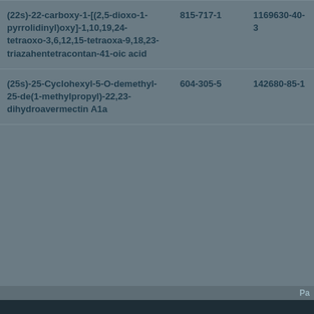| (22s)-22-carboxy-1-[(2,5-dioxo-1-pyrrolidinyl)oxy]-1,10,19,24-tetraoxo-3,6,12,15-tetraoxa-9,18,23-triazahentetracontan-41-oic acid | 815-717-1 | 1169630-40-3 |
| (25s)-25-Cyclohexyl-5-O-demethyl-25-de(1-methylpropyl)-22,23-dihydroavermectin A1a | 604-305-5 | 142680-85-1 |
Pa
Previous